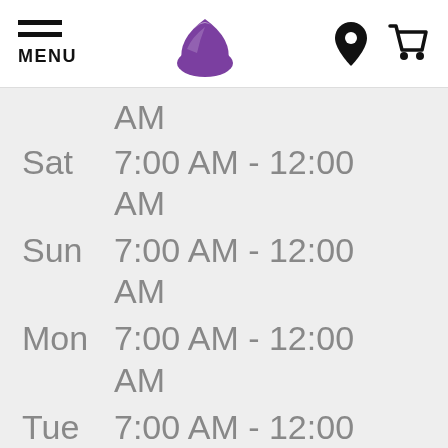MENU | Taco Bell logo | Location icon | Cart icon
AM
Sat  7:00 AM - 12:00 AM
Sun  7:00 AM - 12:00 AM
Mon  7:00 AM - 12:00 AM
Tue  7:00 AM - 12:00